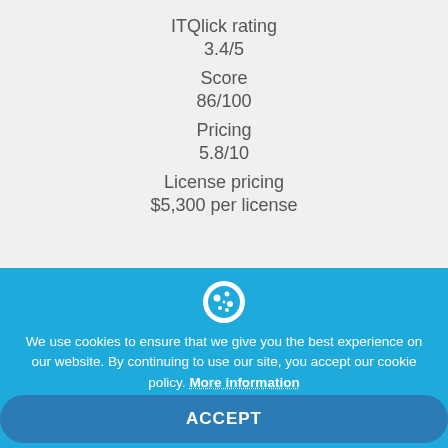ITQlick rating
3.4/5
Score
86/100
Pricing
5.8/10
License pricing
$5,300 per license
We use cookies to ensure that we give you the best experience on our website. By continuing to use our site, you accept our cookie policy. More information
ACCEPT